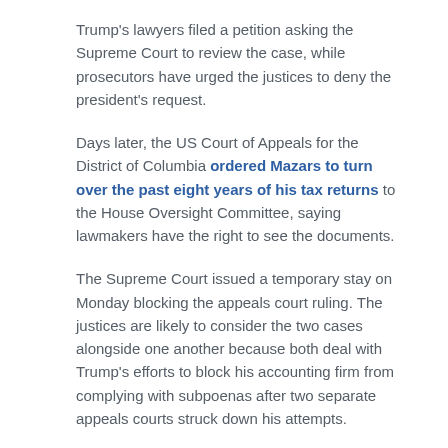Trump's lawyers filed a petition asking the Supreme Court to review the case, while prosecutors have urged the justices to deny the president's request.
Days later, the US Court of Appeals for the District of Columbia ordered Mazars to turn over the past eight years of his tax returns to the House Oversight Committee, saying lawmakers have the right to see the documents.
The Supreme Court issued a temporary stay on Monday blocking the appeals court ruling. The justices are likely to consider the two cases alongside one another because both deal with Trump's efforts to block his accounting firm from complying with subpoenas after two separate appeals courts struck down his attempts.
IRS whistleblower could be key to the public seeing